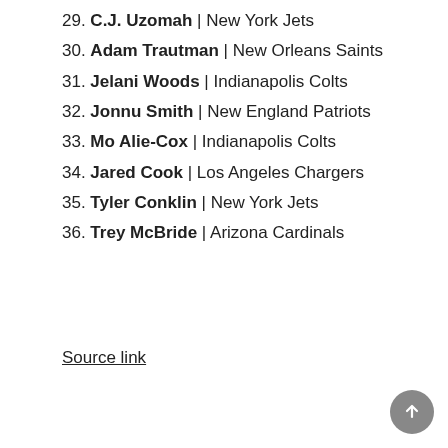29. C.J. Uzomah | New York Jets
30. Adam Trautman | New Orleans Saints
31. Jelani Woods | Indianapolis Colts
32. Jonnu Smith | New England Patriots
33. Mo Alie-Cox | Indianapolis Colts
34. Jared Cook | Los Angeles Chargers
35. Tyler Conklin | New York Jets
36. Trey McBride | Arizona Cardinals
Source link